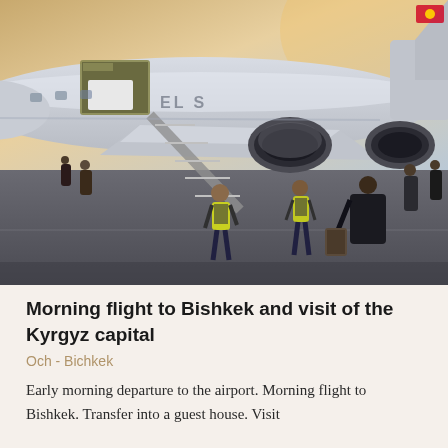[Figure (photo): Airport tarmac scene showing passengers boarding or disembarking a propeller/turbofan aircraft. Two ground crew in yellow high-visibility vests are visible near the airstairs. Passengers in dark winter clothing walk across the tarmac carrying luggage. The aircraft has twin rear-mounted engines and the Kyrgyzstan flag is visible on the tail. Sky is hazy/golden suggesting dawn or dusk.]
Morning flight to Bishkek and visit of the Kyrgyz capital
Och - Bichkek
Early morning departure to the airport. Morning flight to Bishkek. Transfer into a guest house. Visit